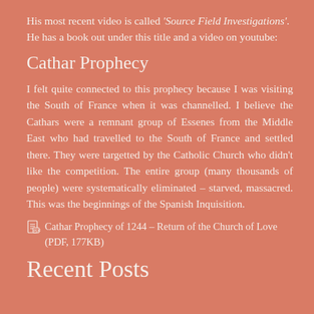His most recent video is called 'Source Field Investigations'. He has a book out under this title and a video on youtube:
Cathar Prophecy
I felt quite connected to this prophecy because I was visiting the South of France when it was channelled. I believe the Cathars were a remnant group of Essenes from the Middle East who had travelled to the South of France and settled there. They were targetted by the Catholic Church who didn't like the competition. The entire group (many thousands of people) were systematically eliminated – starved, massacred. This was the beginnings of the Spanish Inquisition.
📄 Cathar Prophecy of 1244 – Return of the Church of Love (PDF, 177KB)
Recent Posts